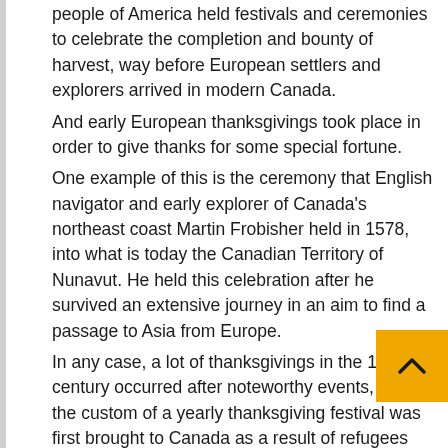people of America held festivals and ceremonies to celebrate the completion and bounty of harvest, way before European settlers and explorers arrived in modern Canada.
And early European thanksgivings took place in order to give thanks for some special fortune.
One example of this is the ceremony that English navigator and early explorer of Canada's northeast coast Martin Frobisher held in 1578, into what is today the Canadian Territory of Nunavut. He held this celebration after he survived an extensive journey in an aim to find a passage to Asia from Europe.
In any case, a lot of thanksgivings in the 18th century occurred after noteworthy events, and the custom of a yearly thanksgiving festival was first brought to Canada as a result of refugees fleeing from the civil war in the United States.
From 1879, Thanksgiving Day occurred each year, yet there were different themes and it was held on a different day every year, including one the most common, blessings of an abundant harvest.